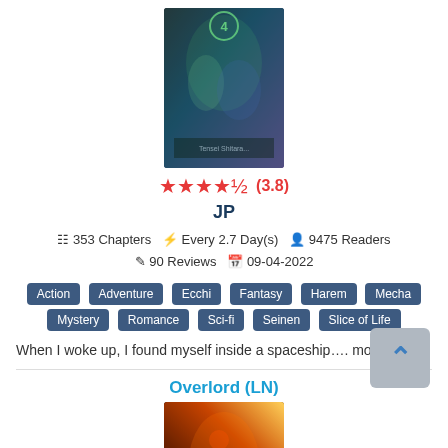[Figure (illustration): Manga/light novel book cover showing anime characters, dark sci-fi theme]
★★★★☆ (3.8)
JP
353 Chapters  Every 2.7 Day(s)  9475 Readers  90 Reviews  09-04-2022
Action
Adventure
Ecchi
Fantasy
Harem
Mecha
Mystery
Romance
Sci-fi
Seinen
Slice of Life
When I woke up, I found myself inside a spaceship.... more>>
Overlord (LN)
[Figure (illustration): Overlord light novel cover showing dark fantasy scene with fire and creatures]